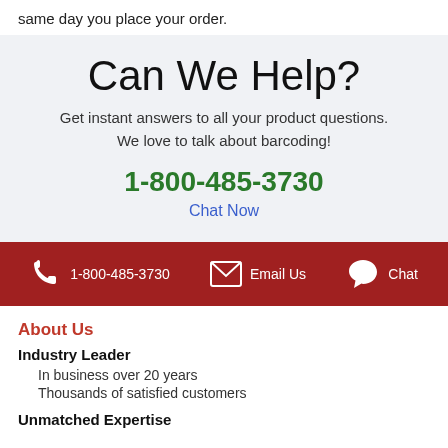same day you place your order.
Can We Help?
Get instant answers to all your product questions. We love to talk about barcoding!
1-800-485-3730
Chat Now
1-800-485-3730   Email Us   Chat
About Us
Industry Leader
In business over 20 years
Thousands of satisfied customers
Unmatched Expertise